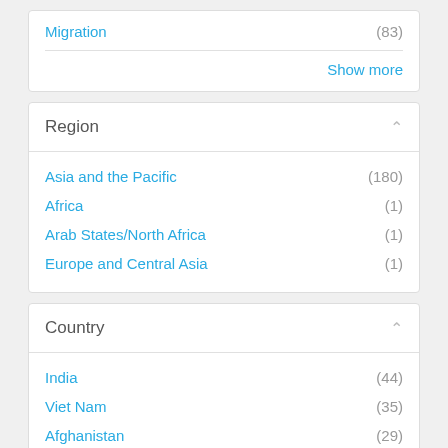Migration (83)
Show more
Region
Asia and the Pacific (180)
Africa (1)
Arab States/North Africa (1)
Europe and Central Asia (1)
Country
India (44)
Viet Nam (35)
Afghanistan (29)
Bangladesh (27)
Timor-Leste (24)